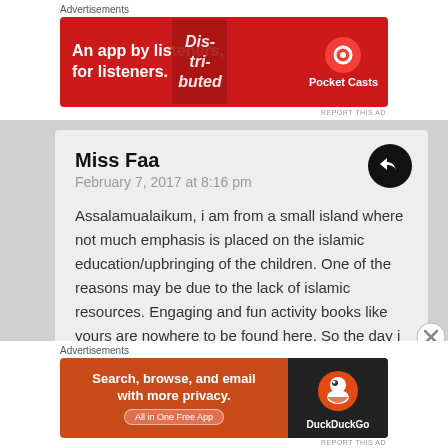[Figure (screenshot): Top advertisement banner for Pocket Casts app. Red background with text 'An app by listeners, for listeners.' and Pocket Casts logo with phone graphic.]
REPORT THIS AD
Miss Faa
February 7, 2017 at 8:16 pm

Assalamualaikum, i am from a small island where not much emphasis is placed on the islamic education/upbringing of the children. One of the reasons may be due to the lack of islamic resources. Engaging and fun activity books like yours are nowhere to be found here. So the day i came across your blog with its free ebooks and tons of
[Figure (screenshot): Bottom advertisement banner for DuckDuckGo. Orange background with text 'Search, browse, and email with more privacy. All in One Free App' and DuckDuckGo logo on dark background.]
REPORT THIS AD